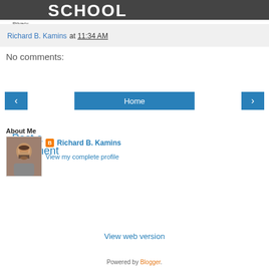[Figure (photo): Banner image with large text SCHOOL on dark background]
Privacy policy
Richard B. Kamins at 11:34 AM
No comments:
Post a Comment
Home (navigation buttons with left arrow, Home, right arrow)
View web version
About Me
[Figure (photo): Profile photo of Richard B. Kamins, a man with dark hair and beard]
Richard B. Kamins
View my complete profile
Powered by Blogger.